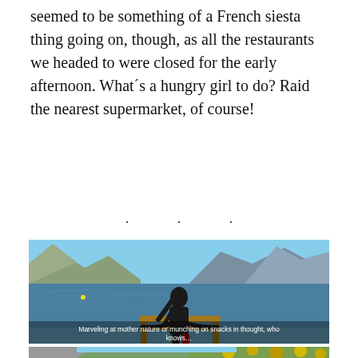seemed to be something of a French siesta thing going on, though, as all the restaurants we headed to were closed for the early afternoon. What´s a hungry girl to do? Raid the nearest supermarket, of course!
· · ·
[Figure (photo): A woman stands on a wooden dock railing with her back to the camera, gazing out over a large blue alpine lake with mountains in the background under a clear blue sky.]
Marveling at mother nature or munching on snacks in thought, who knows…
[Figure (photo): Partial view of another outdoor nature scene, possibly showing mountains and autumn foliage, cropped at the bottom of the page.]